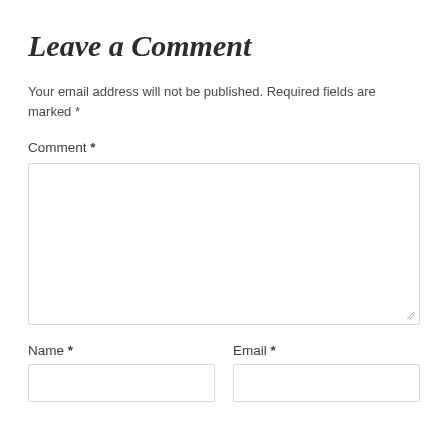Leave a Comment
Your email address will not be published. Required fields are marked *
Comment *
[Figure (other): Empty textarea input box for comment entry with resize handle at bottom right]
Name *
Email *
[Figure (other): Two empty text input boxes side by side for Name and Email fields]